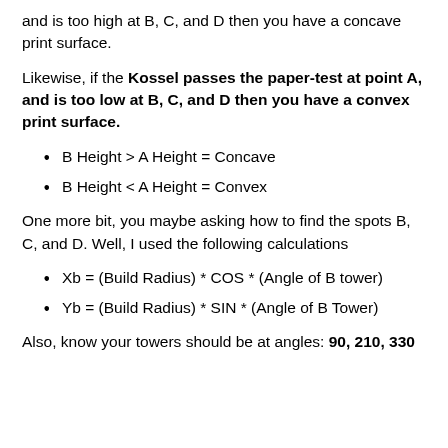and is too high at B, C, and D then you have a concave print surface.
Likewise, if the Kossel passes the paper-test at point A, and is too low at B, C, and D then you have a convex print surface.
B Height > A Height = Concave
B Height < A Height = Convex
One more bit, you maybe asking how to find the spots B, C, and D. Well, I used the following calculations
Xb = (Build Radius) * COS * (Angle of B tower)
Yb = (Build Radius) * SIN * (Angle of B Tower)
Also, know your towers should be at angles: 90, 210, 330